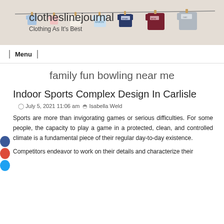[Figure (photo): Website header banner for clotheslinejournal showing miniature personalized t-shirts hanging on a clothesline with wooden pegs against a light background. Site name 'clotheslinejournal' and tagline 'Clothing As It's Best' are overlaid on the image.]
Menu
family fun bowling near me
Indoor Sports Complex Design In Carlisle
July 5, 2021 11:06 am   Isabella Weld
Sports are more than invigorating games or serious difficulties. For some people, the capacity to play a game in a protected, clean, and controlled climate is a fundamental piece of their regular day-to-day existence.
Competitors endeavor to work on their details and characterize their